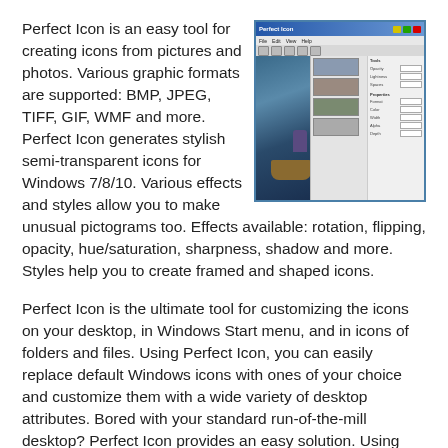Perfect Icon is an easy tool for creating icons from pictures and photos. Various graphic formats are supported: BMP, JPEG, TIFF, GIF, WMF and more. Perfect Icon generates stylish semi-transparent icons for Windows 7/8/10. Various effects and styles allow you to make unusual pictograms too. Effects available: rotation, flipping, opacity, hue/saturation, sharpness, shadow and more. Styles help you to create framed and shaped icons.
[Figure (screenshot): Screenshot of Perfect Icon application showing a photo of people in boats on water, with thumbnail previews on the right sidebar and control panels]
Perfect Icon is the ultimate tool for customizing the icons on your desktop, in Windows Start menu, and in icons of folders and files. Using Perfect Icon, you can easily replace default Windows icons with ones of your choice and customize them with a wide variety of desktop attributes. Bored with your standard run-of-the-mill desktop? Perfect Icon provides an easy solution. Using this small handy tool, you can easily replace standard Windows icons with the ones that you like and customize desktop attributes. You can even change those icons that cannot be changed using standard Windows tools.